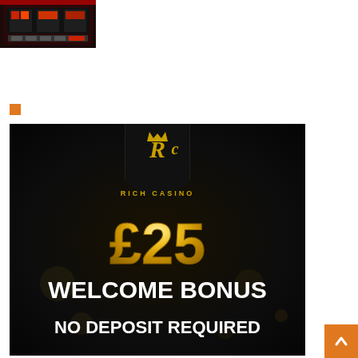[Figure (screenshot): Slot machine / gaming interface screenshot showing dark background with colorful game display]
[Figure (illustration): Small orange square bullet/icon]
[Figure (photo): Rich Casino advertisement banner on dark background. Shows the Rich Casino logo (RC monogram with crown) inside a black shield shape at the top. Large gold text reads £25. Below in large white bold text: WELCOME BONUS. Below that in white bold text: NO DEPOSIT REQUIRED.]